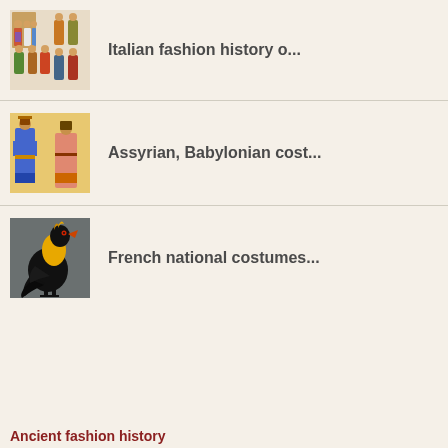Italian fashion history o...
Assyrian, Babylonian cost...
French national costumes...
Ancient fashion history